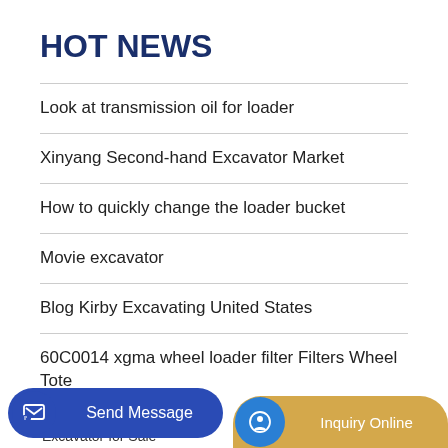HOT NEWS
Look at transmission oil for loader
Xinyang Second-hand Excavator Market
How to quickly change the loader bucket
Movie excavator
Blog Kirby Excavating United States
60C0014 xgma wheel loader filter Filters Wheel Tote
Send Message   Aker   Inquiry Online   Excavator for Sale